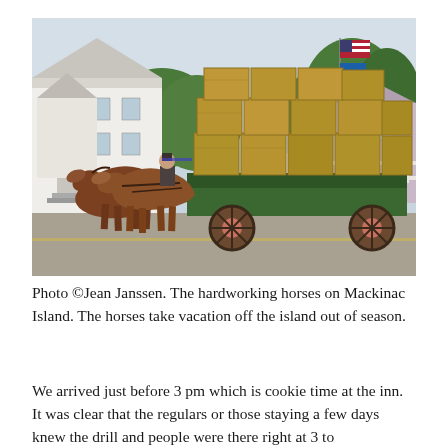[Figure (photo): Two brown draft horses pulling a green wooden wagon loaded with stacked hay bales down a street in Mackinac Island. Historic white clapboard buildings and trees line the left side of the street. A flagpole with American flag is visible on the right side, along with a lavender/pink house and white picket fence.]
Photo ©Jean Janssen. The hardworking horses on Mackinac Island. The horses take vacation off the island out of season.
We arrived just before 3 pm which is cookie time at the inn. It was clear that the regulars or those staying a few days knew the drill and people were there right at 3 to